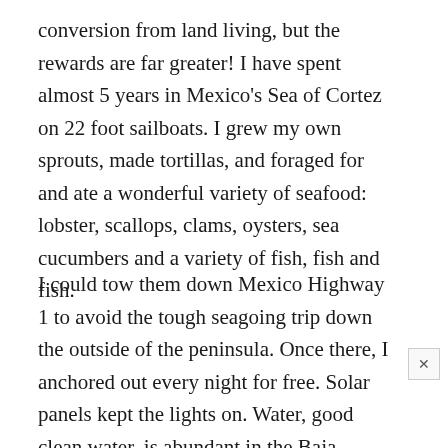conversion from land living, but the rewards are far greater! I have spent almost 5 years in Mexico's Sea of Cortez on 22 foot sailboats. I grew my own sprouts, made tortillas, and foraged for and ate a wonderful variety of seafood: lobster, scallops, clams, oysters, sea cucumbers and a variety of fish, fish and fish.
I could tow them down Mexico Highway 1 to avoid the tough seagoing trip down the outside of the peninsula. Once there, I anchored out every night for free. Solar panels kept the lights on. Water, good clean water, is abundant in the Baja Pensinsula as its sources are generally mountain runoff, rather than the shallow-dug wells found on the mainland that gringos fear!